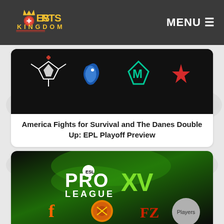ESPORTS KINGDOM — MENU
[Figure (screenshot): Article thumbnail showing four esports team logos (Virtus.pro, Team Liquid, MOUZ, Astralis) on dark background for EPL Playoff Preview]
America Fights for Survival and The Danes Double Up: EPL Playoff Preview
[Figure (screenshot): ESL Pro League XV article thumbnail with bright green background showing Fnatic, OG, FaZe logos and a 'Players' button]
FaZe faces elimination and Fnatic write their Cinderella story: EPL Playoff Preview